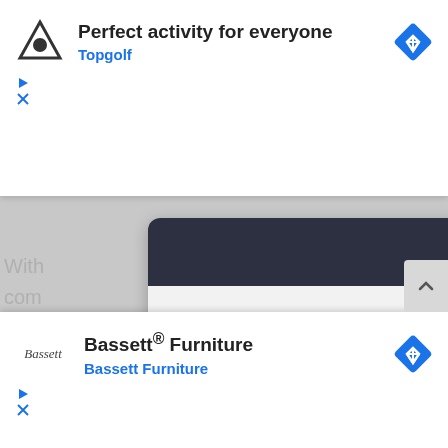[Figure (screenshot): Top Google ad banner for Topgolf with logo, headline 'Perfect activity for everyone', brand name 'Topgolf', and blue diamond ad icon]
[Figure (screenshot): Middle ad card with dark header containing a Q-icon logo, body text 'Helping Small Businesses Protect Their Vehicles With The Lowest Rates Possible', and a blue circular CTA button with chevron right]
[Figure (screenshot): Bottom Google ad banner for Bassett Furniture with logo, headline 'Bassett® Furniture', brand name 'Bassett Furniture', and blue diamond ad icon]
With
com
life
nier